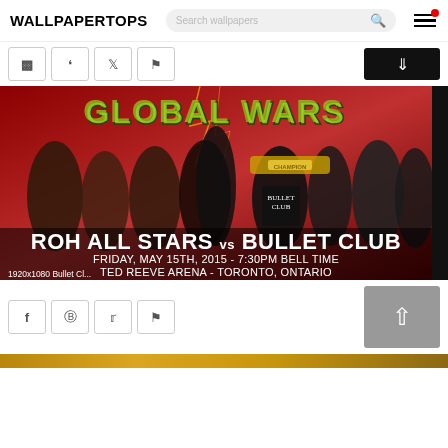WALLPAPERTOPS
[Figure (screenshot): Website header with WALLPAPERTOPS logo, search bar reading 'Search wallpapers', and hamburger menu icon with red notification dot]
[Figure (photo): Social sharing buttons row (Facebook, Pinterest, Twitter, Flag) and a dark download button on the right]
[Figure (photo): Wrestling event wallpaper: Global Wars - ROH All Stars vs Bullet Club, Friday May 15th 2015 - 7:30PM Bell Time, Ted Reeve Arena - Toronto, Ontario. 1920x1080 Bullet Cl...]
[Figure (screenshot): Social sharing buttons row (Facebook, Pinterest, Twitter, Flag) and a gray 'back to top' arrow button on the right]
[Figure (photo): Partial bottom image strip showing gold/yellow tones]